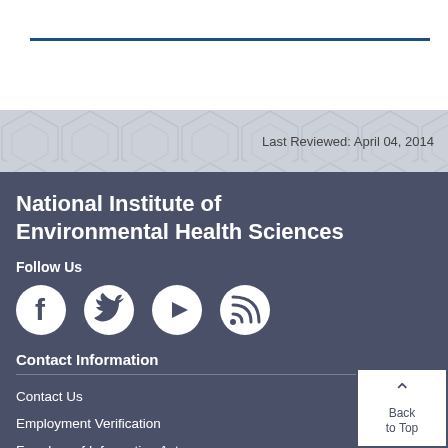Last Reviewed: April 04, 2014
National Institute of Environmental Health Sciences
Follow Us
[Figure (illustration): Social media icons: Facebook, Twitter, YouTube, RSS feed]
Contact Information
Contact Us
Employment Verification
Freedom of Information Act